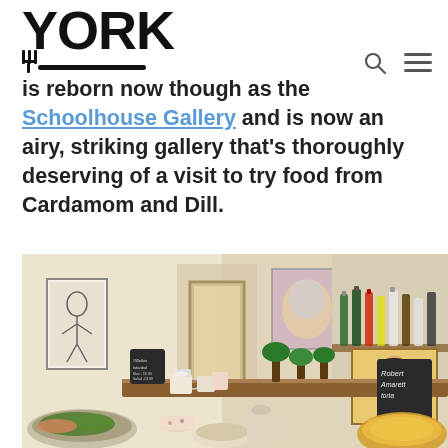YORK
is reborn now though as the Schoolhouse Gallery and is now an airy, striking gallery that's thoroughly deserving of a visit to try food from Cardamom and Dill.
[Figure (photo): Interior of a gallery cafe with artwork on walls, a long wooden counter with chalk menu boards, mismatched crockery, food dishes, potted plants and bottles of spirits on shelving behind the counter.]